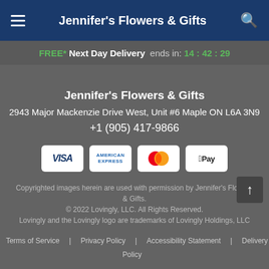Jennifer's Flowers & Gifts
FREE* Next Day Delivery ends in: 14:42:29
Jennifer's Flowers & Gifts
2943 Major Mackenzie Drive West, Unit #6 Maple ON L6A 3N9
+1 (905) 417-9866
[Figure (other): Payment method logos: Visa, American Express, Mastercard, Apple Pay]
Copyrighted images herein are used with permission by Jennifer's Flowers & Gifts.
© 2022 Lovingly, LLC. All Rights Reserved.
Lovingly and the Lovingly logo are trademarks of Lovingly Holdings, LLC
Terms of Service | Privacy Policy | Accessibility Statement | Delivery Policy